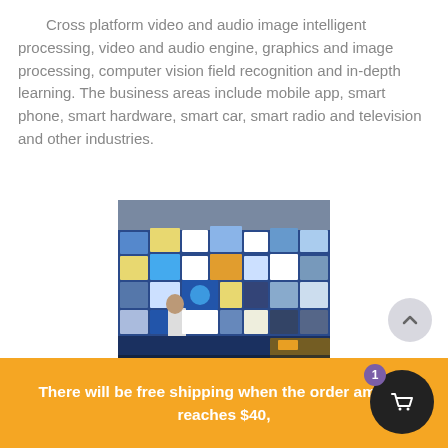Cross platform video and audio image intelligent processing, video and audio engine, graphics and image processing, computer vision field recognition and in-depth learning. The business areas include mobile app, smart phone, smart hardware, smart car, smart radio and television and other industries.
[Figure (photo): A person interacting with a large digital display wall showing various blue-tinted images and tiles in what appears to be an indoor setting.]
Intelligent business display, display and control
There will be free shipping when the order amount reaches $40,